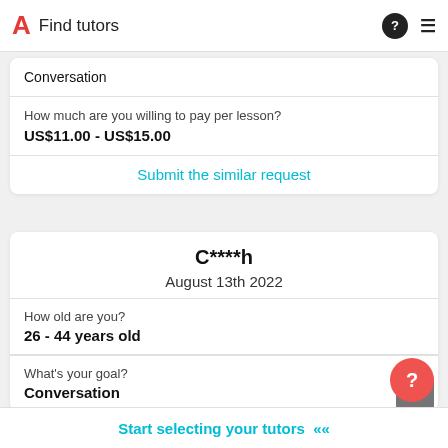Find tutors
Conversation
How much are you willing to pay per lesson?
US$11.00 - US$15.00
Submit the similar request
C****h
August 13th 2022
How old are you?
26 - 44 years old
What's your goal?
Conversation
Start selecting your tutors